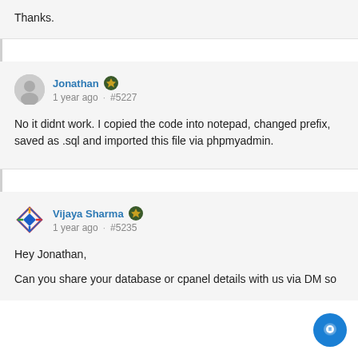Thanks.
Jonathan · 1 year ago · #5227
No it didnt work. I copied the code into notepad, changed prefix, saved as .sql and imported this file via phpmyadmin.
Vijaya Sharma · 1 year ago · #5235
Hey Jonathan,
Can you share your database or cpanel details with us via DM so